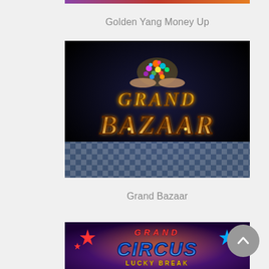Golden Yang Money Up
[Figure (illustration): Grand Bazaar slot game logo — gold ornate lettering on dark background with gem cluster and checkered floor]
Grand Bazaar
[Figure (illustration): Grand Circus Lucky Break slot game logo — blue and red lettering with stars on purple background with orange glow (partially visible at bottom)]